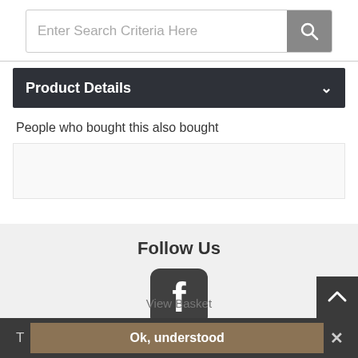[Figure (screenshot): Search bar with placeholder text 'Enter Search Criteria Here' and a gray search button with magnifying glass icon]
Product Details
People who bought this also bought
[Figure (screenshot): Empty product recommendation area]
Follow Us
[Figure (logo): Facebook icon - rounded square with white 'f' logo on dark gray background]
Useful Links
View Basket
T  Ok, understood  ✕